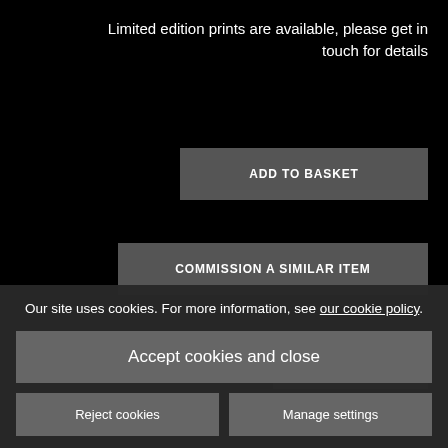Limited edition prints are available, please get in touch for details
ADD TO BASKET
COMMISSION A SIMILAR ITEM
SHARE
Our site uses cookies. For more information, see our cookie policy.
Accept cookies and close
Reject cookies
Manage settings